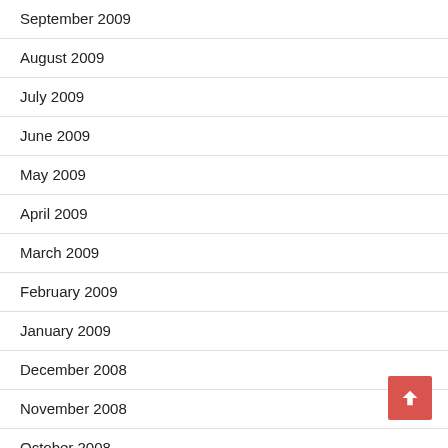September 2009
August 2009
July 2009
June 2009
May 2009
April 2009
March 2009
February 2009
January 2009
December 2008
November 2008
October 2008
September 2008
August 2008